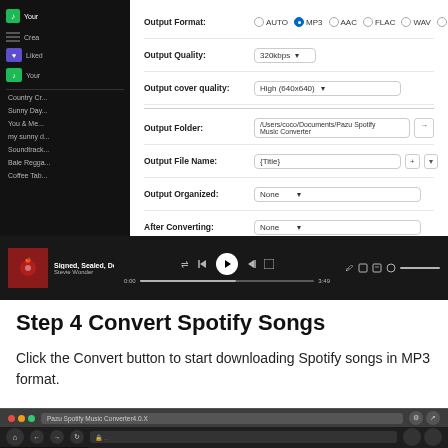[Figure (screenshot): Screenshot of Pazu Spotify Music Converter settings panel showing output format (MP3 selected), output quality (320kbps), output cover quality (High 640x640), output folder, output file name ({Title}), output organized (None), after converting (None), and language (English). Below the settings is a Spotify player bar showing 'Signed, Sealed, Delive' by Stevie Wonder playing.]
Step 4 Convert Spotify Songs
Click the Convert button to start downloading Spotify songs in MP3 format.
[Figure (screenshot): Screenshot of Pazu Spotify Music Converter app showing the Spotify interface with a 'Converting' dialog box open, and a table below with columns for Title, Artist, Album, Duration.]